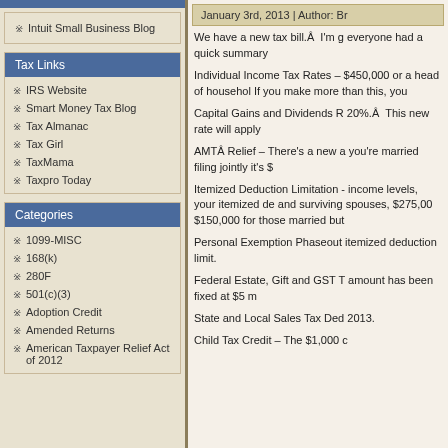Intuit Small Business Blog
Tax Links
IRS Website
Smart Money Tax Blog
Tax Almanac
Tax Girl
TaxMama
Taxpro Today
Categories
1099-MISC
168(k)
280F
501(c)(3)
Adoption Credit
Amended Returns
American Taxpayer Relief Act of 2012
January 3rd, 2013 | Author: Br
We have a new tax bill.Â  I'm g everyone had a quick summary
Individual Income Tax Rates – $450,000 or a head of household If you make more than this, you
Capital Gains and Dividends R 20%.Â  This new rate will apply
AMTÂ Relief – There's a new a you're married filing jointly it's $
Itemized Deduction Limitation - income levels, your itemized de and surviving spouses, $275,00 $150,000 for those married but
Personal Exemption Phaseout itemized deduction limit.
Federal Estate, Gift and GST T amount has been fixed at $5 m
State and Local Sales Tax Ded 2013.
Child Tax Credit – The $1,000 c